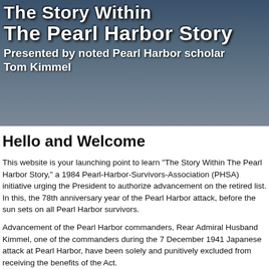[Figure (photo): Banner image with ship/harbor background and overlaid text reading 'The Story Within The Pearl Harbor Story, Presented by noted Pearl Harbor scholar Tom Kimmel']
Hello and Welcome
This website is your launching point to learn "The Story Within The Pearl Harbor Story," a 1984 Pearl-Harbor-Survivors-Association (PHSA) initiative urging the President to authorize advancement on the retired list.  In this, the 78th anniversary year of the Pearl Harbor attack, before the sun sets on all Pearl Harbor survivors.
Advancement of the Pearl Harbor commanders, Rear Admiral Husband Kimmel, one of the commanders during the 7 December 1941 Japanese attack at Pearl Harbor, have been solely and punitively excluded from receiving the benefits of the Act.
At PHSA's urging, Congress passed a law in 2000--chiefly sponsored by them to be advanced on the retired list.
On April 7, 2017, I submitted an application to the Board for Correction of Naval Records on this matter on April 26, 2018. I was notified of the negative results by email dated